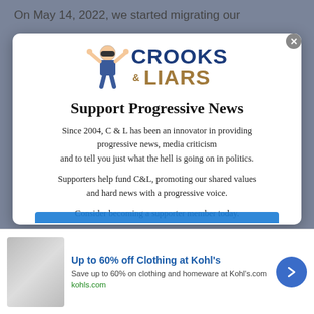On May 14, 2022, we started migrating our
[Figure (logo): Crooks & Liars logo with cartoon figure raising arms and text CROOKS & LIARS in blue and gold]
Support Progressive News
Since 2004, C & L has been an innovator in providing progressive news, media criticism and to tell you just what the hell is going on in politics.
Supporters help fund C&L, promoting our shared values and hard news with a progressive voice.
Consider becoming a supporter member today.
[Figure (infographic): Advertisement banner: Up to 60% off Clothing at Kohl's - Save up to 60% on clothing and homeware at Kohl's.com - kohls.com]